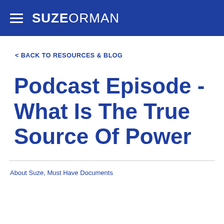SUZE ORMAN
< BACK TO RESOURCES & BLOG
Podcast Episode - What Is The True Source Of Power
About Suze, Must Have Documents